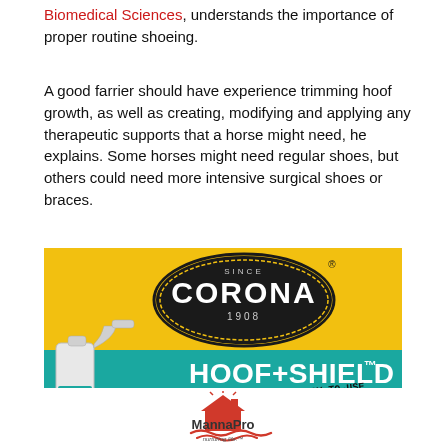Biomedical Sciences, understands the importance of proper routine shoeing.
A good farrier should have experience trimming hoof growth, as well as creating, modifying and applying any therapeutic supports that a horse might need, he explains. Some horses might need regular shoes, but others could need more intensive surgical shoes or braces.
[Figure (illustration): Corona Hoof+Shield product advertisement on yellow and teal background with spray bottle, Corona badge logo (Since 1908), 'HOOF+SHIELD™' text, and 'Easy-to-use and Targeted Application!' tagline]
[Figure (logo): MannaPro logo with 'nurturing life.' tagline]